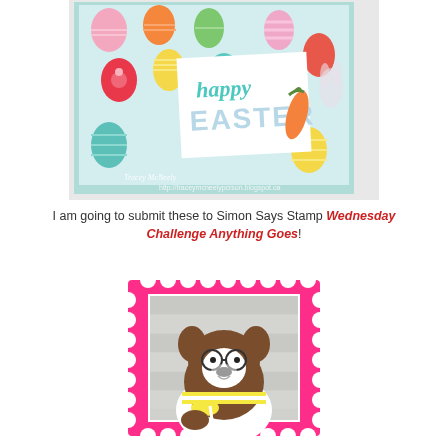[Figure (photo): Easter card with colorful Easter eggs patterned paper background in teal, and a white square card saying 'happy EASTER' with a carrot embellishment. Watermark: Tracey McNeely, http://tracymcneelypcrson.blogspot.ca]
I am going to submit these to Simon Says Stamp Wednesday Challenge Anything Goes!
[Figure (illustration): Simon Says Stamp logo shown as a pink postage stamp frame containing an illustration of a brown Boston Terrier dog wearing glasses and a yellow and white striped scarf, on a grey wood plank background]